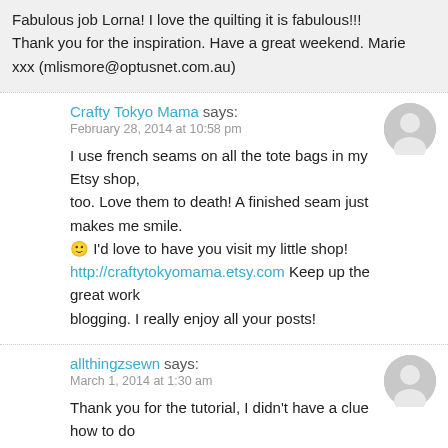Fabulous job Lorna! I love the quilting it is fabulous!!! Thank you for the inspiration. Have a great weekend. Marie xxx (mlismore@optusnet.com.au)
Crafty Tokyo Mama says:
February 28, 2014 at 10:58 pm
I use french seams on all the tote bags in my Etsy shop, too. Love them to death! A finished seam just makes me smile. 🙂 I'd love to have you visit my little shop! http://craftytokyomama.etsy.com Keep up the great work blogging. I really enjoy all your posts!
allthingzsewn says:
March 1, 2014 at 1:30 am
Thank you for the tutorial, I didn't have a clue how to do this. I will be making some. The matching quilt is a must.
Cindy says:
March 1, 2014 at 1:52 am